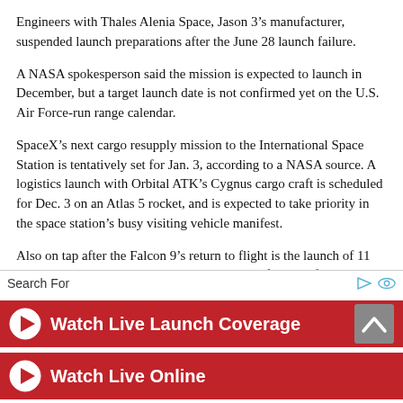Engineers with Thales Alenia Space, Jason 3’s manufacturer, suspended launch preparations after the June 28 launch failure.
A NASA spokesperson said the mission is expected to launch in December, but a target launch date is not confirmed yet on the U.S. Air Force-run range calendar.
SpaceX’s next cargo resupply mission to the International Space Station is tentatively set for Jan. 3, according to a NASA source. A logistics launch with Orbital ATK’s Cygnus cargo craft is scheduled for Dec. 3 on an Atlas 5 rocket, and is expected to take priority in the space station’s busy visiting vehicle manifest.
Also on tap after the Falcon 9’s return to flight is the launch of 11 Orbcomm data relay satellites — the second of a pair of SpaceX launches to deploy Orbcomm’s second-generation
Search For
Watch Live Launch Coverage
Watch Live Online